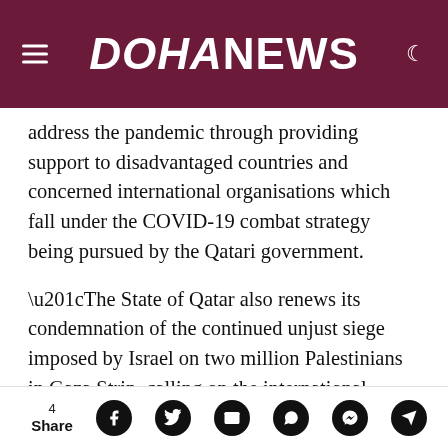DOHANEWS
address the pandemic through providing support to disadvantaged countries and concerned international organisations which fall under the COVID-19 combat strategy being pursued by the Qatari government.
“The State of Qatar also renews its condemnation of the continued unjust siege imposed by Israel on two million Palestinians in Gaza Strip, calling on the international community to take all necessary measures to end this illegal siege and protect the [health of Palestinians said] the Qatar Ne...
4 Share [social share icons: Facebook, Twitter, Email, WhatsApp, Messenger, Telegram]